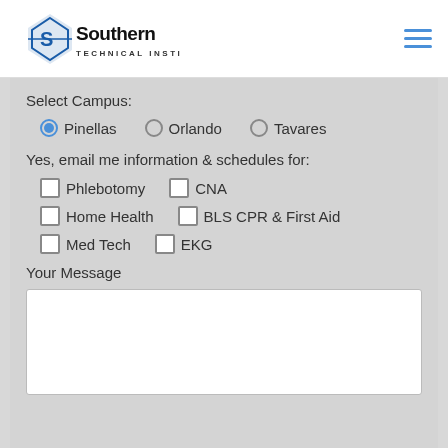[Figure (logo): Southern Technical Institute logo with blue diamond S graphic and text 'Southern Technical Institute']
Select Campus:
Pinellas (selected radio), Orlando (radio), Tavares (radio)
Yes, email me information & schedules for:
Phlebotomy (checkbox)  CNA (checkbox)
Home Health (checkbox)  BLS CPR & First Aid (checkbox)
Med Tech (checkbox)  EKG (checkbox)
Your Message